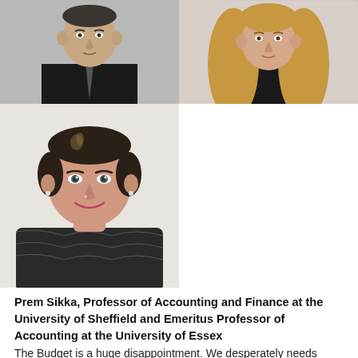[Figure (photo): Headshot of a man in a dark suit and tie, top-left photo]
[Figure (photo): Headshot of a woman with long blonde hair wearing a black top, top-right photo]
[Figure (photo): Headshot of a smiling woman with short dark hair, wearing a patterned top, bottom-left photo]
Prem Sikka, Professor of Accounting and Finance at the University of Sheffield and Emeritus Professor of Accounting at the University of Essex
The Budget is a huge disappointment. We desperately needs investment in the economy and